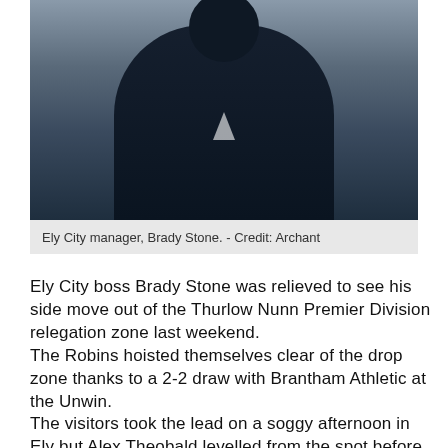[Figure (photo): A person wearing a dark navy puffer jacket, photographed outdoors with a blurred grey background. The figure appears to be a football manager on a touchline.]
Ely City manager, Brady Stone. - Credit: Archant
Ely City boss Brady Stone was relieved to see his side move out of the Thurlow Nunn Premier Division relegation zone last weekend.
The Robins hoisted themselves clear of the drop zone thanks to a 2-2 draw with Brantham Athletic at the Unwin.
The visitors took the lead on a soggy afternoon in Ely but Alex Theobald levelled from the spot before the